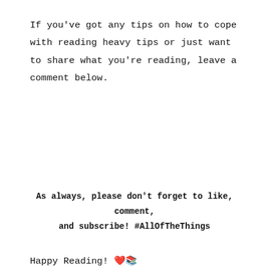If you've got any tips on how to cope with reading heavy tips or just want to share what you're reading, leave a comment below.
As always, please don't forget to like, comment, and subscribe! #AllOfTheThings
Happy Reading! ❤️📚
[Figure (other): Yellow banner with bold uppercase text 'POST MENTIONED' and a close/dismiss button (circled X) in the bottom-right corner]
Advertisements
[Figure (other): Red advertisement banner for Pocket Casts app with text 'An app by listeners, for listeners.' and Pocket Casts logo on the right, a phone image in the center]